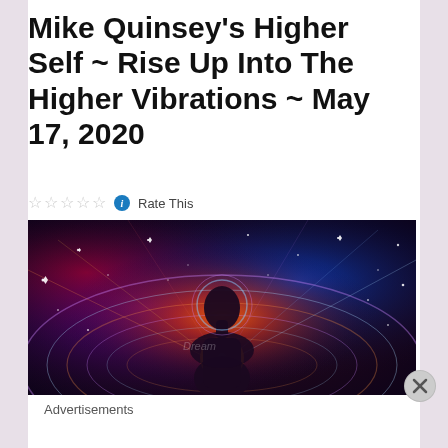Mike Quinsey's Higher Self ~ Rise Up Into The Higher Vibrations ~ May 17, 2020
☆☆☆☆☆ ℹ Rate This
[Figure (illustration): A silhouette of a human figure seen from behind, surrounded by colorful cosmic energy, swirling light rings in purple, blue, red and orange against a dark space background with sparkling stars and light rays emanating from the figure's torso.]
Advertisements